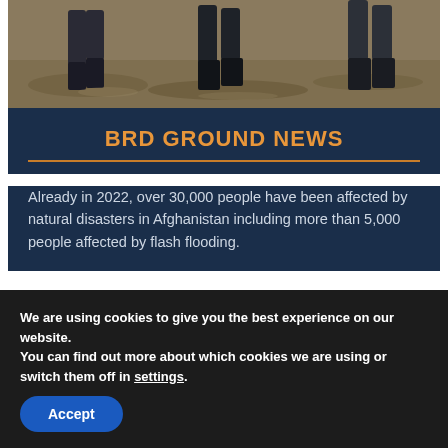[Figure (photo): People wading through muddy floodwaters, showing legs and boots in shallow brown water]
BRD GROUND NEWS
Already in 2022, over 30,000 people have been affected by natural disasters in Afghanistan including more than 5,000 people affected by flash flooding.
@BRD-ORG.DE  @BRD_BRD  @BRDAFGHANI  @BRDAFGHANISTAN
[Figure (logo): Organization logo with colorful hexagonal flower pattern in a circular seal]
We are using cookies to give you the best experience on our website.
You can find out more about which cookies we are using or switch them off in settings.
Accept